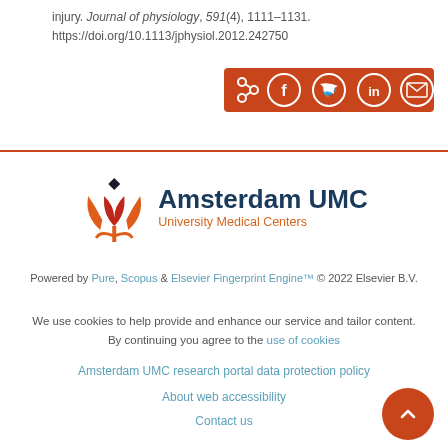injury. Journal of physiology, 591(4), 1111-1131. https://doi.org/10.1113/jphysiol.2012.242750
[Figure (other): Orange share bar with icons for share, Facebook, Twitter, LinkedIn, and email]
[Figure (logo): Amsterdam UMC University Medical Centers logo with tulip icon]
Powered by Pure, Scopus & Elsevier Fingerprint Engine™ © 2022 Elsevier B.V.
We use cookies to help provide and enhance our service and tailor content. By continuing you agree to the use of cookies
Amsterdam UMC research portal data protection policy
About web accessibility
Contact us